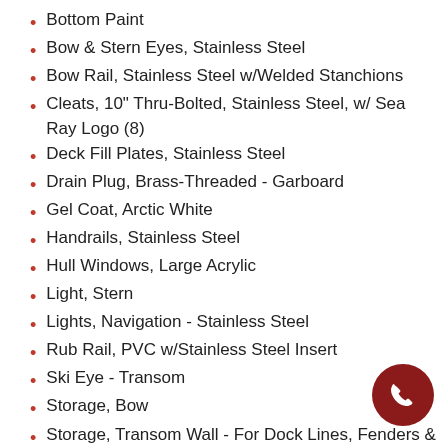Bottom Paint
Bow & Stern Eyes, Stainless Steel
Bow Rail, Stainless Steel w/Welded Stanchions
Cleats, 10" Thru-Bolted, Stainless Steel, w/ Sea Ray Logo (8)
Deck Fill Plates, Stainless Steel
Drain Plug, Brass-Threaded - Garboard
Gel Coat, Arctic White
Handrails, Stainless Steel
Hull Windows, Large Acrylic
Light, Stern
Lights, Navigation - Stainless Steel
Rub Rail, PVC w/Stainless Steel Insert
Ski Eye - Transom
Storage, Bow
Storage, Transom Wall - For Dock Lines, Fenders & Gear
Swim Platform, Integral w/ Undermount
[Figure (illustration): Red circular phone/call button icon in bottom right corner]